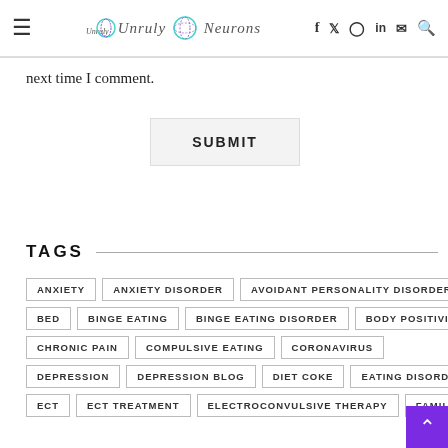Unruly Neurons — navigation header with hamburger menu, logo, and social icons (f, twitter, instagram, in, email, search)
next time I comment.
SUBMIT
TAGS
ANXIETY
ANXIETY DISORDER
AVOIDANT PERSONALITY DISORDER
BED
BINGE EATING
BINGE EATING DISORDER
BODY POSITIVITY
CHRONIC PAIN
COMPULSIVE EATING
CORONAVIRUS
DEPRESSION
DEPRESSION BLOG
DIET COKE
EATING DISORDER
ECT
ECT TREATMENT
ELECTROCONVULSIVE THERAPY
FAMILY